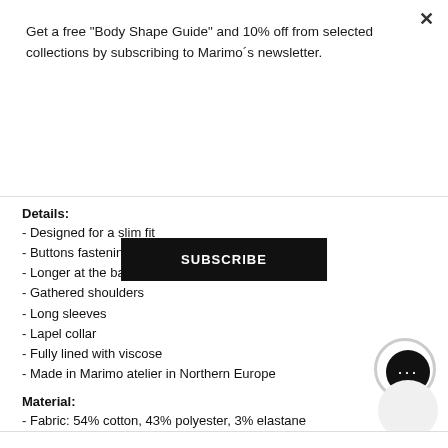Get a free "Body Shape Guide" and 10% off from selected collections by subscribing to Marimo´s newsletter.
SUBSCRIBE
Details:
- Designed for a slim fit
- Buttons fastening in the front
- Longer at the back
- Gathered shoulders
- Long sleeves
- Lapel collar
- Fully lined with viscose
- Made in Marimo atelier in Northern Europe
Material:
- Fabric: 54% cotton, 43% polyester, 3% elastane
- Lining: 100% viscose
- Dry clean
Size and fit information:
- Fits true to size, take your normal size